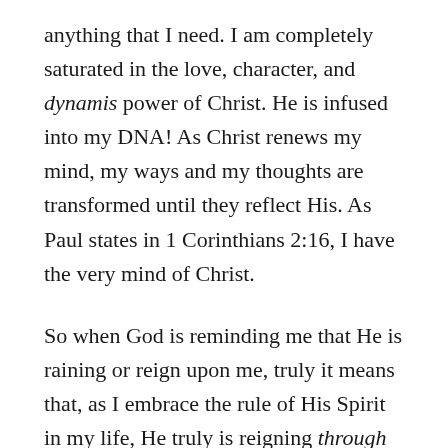anything that I need. I am completely saturated in the love, character, and dynamis power of Christ. He is infused into my DNA! As Christ renews my mind, my ways and my thoughts are transformed until they reflect His. As Paul states in 1 Corinthians 2:16, I have the very mind of Christ.
So when God is reminding me that He is raining or reign upon me, truly it means that, as I embrace the rule of His Spirit in my life, He truly is reigning through me. Like a sunflower that soaks up the sun and the rain, God's Word and God's way holds everything I need to navigate this world. My greatest desire is to yield to the Spirit in my everyday life and allow Him to work His will through me—on earth as it is in heaven.